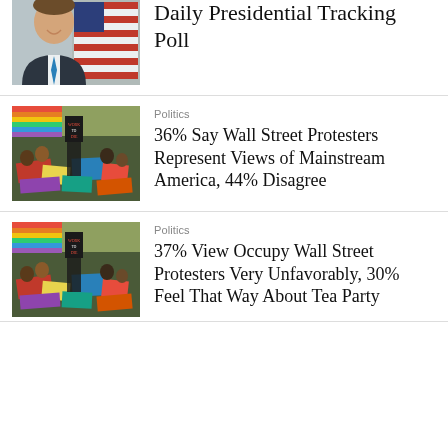[Figure (photo): Man in suit smiling with American flag in background]
Daily Presidential Tracking Poll
[Figure (photo): Occupy Wall Street protest scene with signs and flags on ground]
Politics
36% Say Wall Street Protesters Represent Views of Mainstream America, 44% Disagree
[Figure (photo): Occupy Wall Street protest scene with signs and flags on ground]
Politics
37% View Occupy Wall Street Protesters Very Unfavorably, 30% Feel That Way About Tea Party